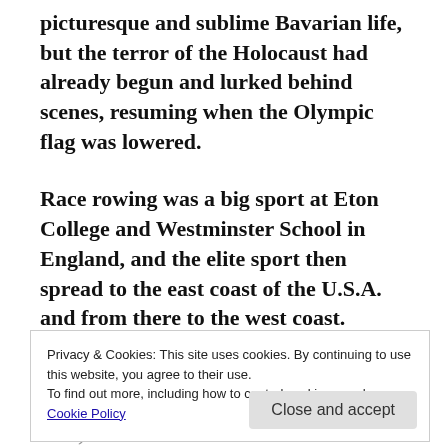picturesque and sublime Bavarian life, but the terror of the Holocaust had already begun and lurked behind scenes, resuming when the Olympic flag was lowered.
Race rowing was a big sport at Eton College and Westminster School in England, and the elite sport then spread to the east coast of the U.S.A. and from there to the west coast.
The racing shell, unlike the ordinary rowboat,
Privacy & Cookies: This site uses cookies. By continuing to use this website, you agree to their use.
To find out more, including how to control cookies, see here:
Cookie Policy
Close and accept
An eight man crew actually has nine men,